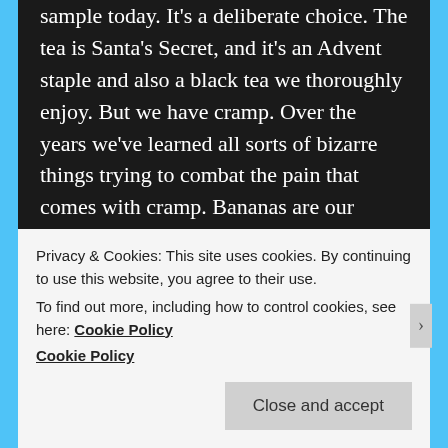sample today. It's a deliberate choice. The tea is Santa's Secret, and it's an Advent staple and also a black tea we thoroughly enjoy. But we have cramp. Over the years we've learned all sorts of bizarre things trying to combat the pain that comes with cramp. Bananas are our friends. Chocolate, the cure-all our friends swear by, is not. Neither is milk. And neither for the first 48 hours is anything caffeinated. So, black tea was a non-starter.
As first days go, this wasn't a terrible one. We got 1600 words done for work and – be stunned and amazed – they Flying Geese Quilt is finished! With
Privacy & Cookies: This site uses cookies. By continuing to use this website, you agree to their use.
To find out more, including how to control cookies, see here: Cookie Policy